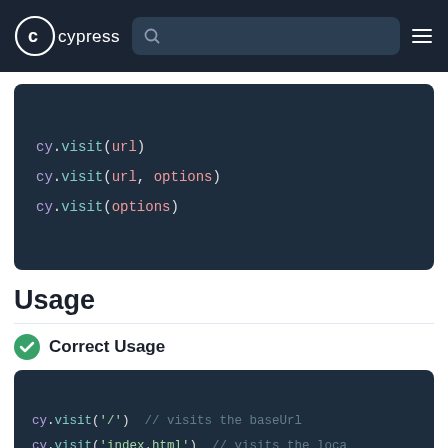cypress [search bar] [hamburger menu]
[Figure (screenshot): Cypress documentation website header with logo, search bar, and hamburger menu on dark navy background]
Usage
Correct Usage